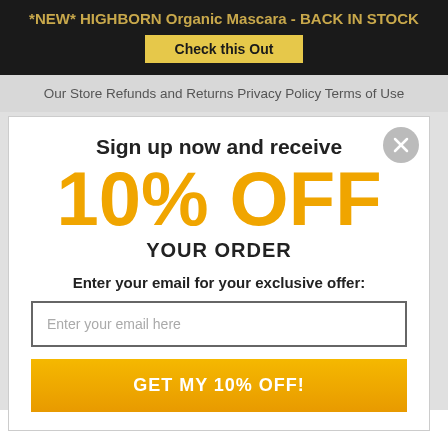*NEW* HIGHBORN Organic Mascara - BACK IN STOCK
Check this Out
Our Store   Refunds and Returns   Privacy Policy   Terms of Use
Sign up now and receive
10% OFF
YOUR ORDER
Enter your email for your exclusive offer:
Enter your email here
GET MY 10% OFF!